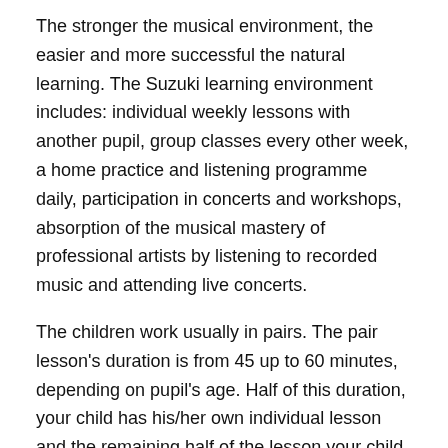The stronger the musical environment, the easier and more successful the natural learning. The Suzuki learning environment includes: individual weekly lessons with another pupil, group classes every other week, a home practice and listening programme daily, participation in concerts and workshops, absorption of the musical mastery of professional artists by listening to recorded music and attending live concerts.
The children work usually in pairs. The pair lesson's duration is from 45 up to 60 minutes, depending on pupil's age. Half of this duration, your child has his/her own individual lesson and the remaining half of the lesson your child spends listening to his peer playing. The pupils learn much just by listening.
When the pupil is young, the role of the parents is very important. It's the parents' responsibility to create the musical environment for the child. The parents participate to the